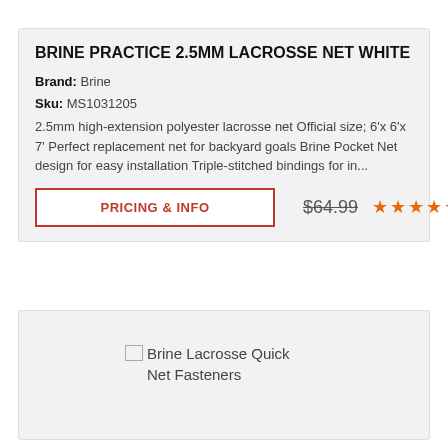BRINE PRACTICE 2.5MM LACROSSE NET WHITE
Brand: Brine
Sku: MS1031205
2.5mm high-extension polyester lacrosse net Official size; 6'x 6'x 7' Perfect replacement net for backyard goals Brine Pocket Net design for easy installation Triple-stitched bindings for in...
PRICING & INFO
$64.99
[Figure (other): 5 orange star rating icons]
[Figure (other): Broken image placeholder with alt text: Brine Lacrosse Quick Net Fasteners]